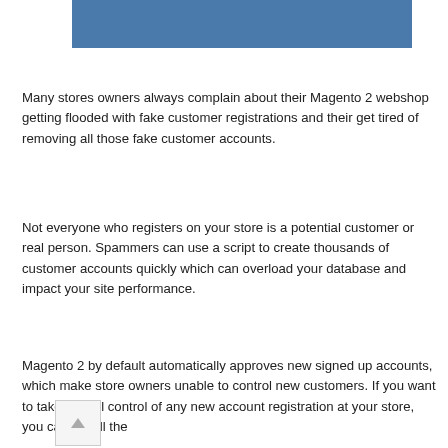[Figure (other): Blue rectangular banner at top of page]
Many stores owners always complain about their Magento 2 webshop getting flooded with fake customer registrations and their get tired of removing all those fake customer accounts.
Not everyone who registers on your store is a potential customer or real person. Spammers can use a script to create thousands of customer accounts quickly which can overload your database and impact your site performance.
Magento 2 by default automatically approves new signed up accounts, which make store owners unable to control new customers. If you want to take the full control of any new account registration at your store, you can install the